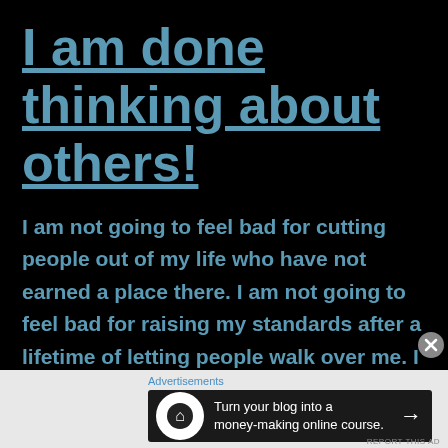I am done thinking about others!
I am not going to feel bad for cutting people out of my life who have not earned a place there. I am not going to feel bad for raising my standards after a lifetime of letting people walk over me. I
Advertisements
[Figure (other): Advertisement banner: Turn your blog into a money-making online course. Arrow pointing right.]